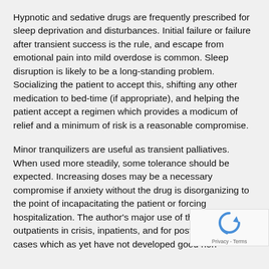Hypnotic and sedative drugs are frequently prescribed for sleep deprivation and disturbances. Initial failure or failure after transient success is the rule, and escape from emotional pain into mild overdose is common. Sleep disruption is likely to be a long-standing problem. Socializing the patient to accept this, shifting any other medication to bed-time (if appropriate), and helping the patient accept a regimen which provides a modicum of relief and a minimum of risk is a reasonable compromise.
Minor tranquilizers are useful as transient palliatives. When used more steadily, some tolerance should be expected. Increasing doses may be a necessary compromise if anxiety without the drug is disorganizing to the point of incapacitating the patient or forcing hospitalization. The author's major use of these dr... for outpatients in crisis, inpatients, and for post-fu... cases which as yet have not developed good non- discip...